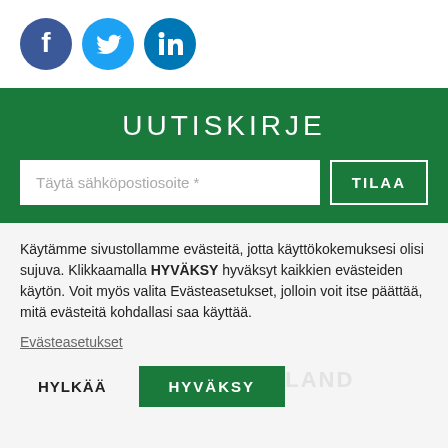[Figure (logo): Social media icons: Facebook (dark blue circle), Twitter (light blue circle), LinkedIn (dark blue circle)]
UUTISKIRJE
Täytä sähköpostiosoite *
TILAA
Käytämme sivustollamme evästeitä, jotta käyttökokemuksesi olisi sujuva. Klikkaamalla HYVÄKSY hyväksyt kaikkien evästeiden käytön. Voit myös valita Evästeasetukset, jolloin voit itse päättää, mitä evästeitä kohdallasi saa käyttää.
Evästeasetukset
HYLKÄÄ
HYVÄKSY